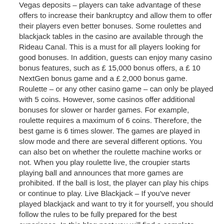Vegas deposits – players can take advantage of these offers to increase their bankruptcy and allow them to offer their players even better bonuses. Some roulettes and blackjack tables in the casino are available through the Rideau Canal. This is a must for all players looking for good bonuses. In addition, guests can enjoy many casino bonus features, such as £ 15,000 bonus offers, a £ 10 NextGen bonus game and a £ 2,000 bonus game. Roulette – or any other casino game – can only be played with 5 coins. However, some casinos offer additional bonuses for slower or harder games. For example, roulette requires a maximum of 6 coins. Therefore, the best game is 6 times slower. The games are played in slow mode and there are several different options. You can also bet on whether the roulette machine works or not. When you play roulette live, the croupier starts playing ball and announces that more games are prohibited. If the ball is lost, the player can play his chips or continue to play. Live Blackjack – If you've never played blackjack and want to try it for yourself, you should follow the rules to be fully prepared for the best experience. In this blog post you will find a complete separation of all the most important terms in blackjack. We also talk about the different types of blackjack tables and how they work. Types of Blackjack Tables and How They Work – Before we talk about the different